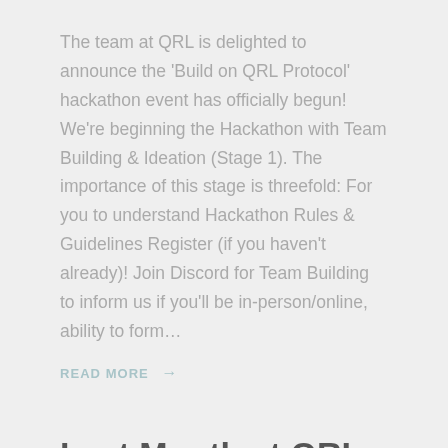The team at QRL is delighted to announce the 'Build on QRL Protocol' hackathon event has officially begun! We're beginning the Hackathon with Team Building & Ideation (Stage 1). The importance of this stage is threefold: For you to understand Hackathon Rules & Guidelines Register (if you haven't already)! Join Discord for Team Building to inform us if you'll be in-person/online, ability to form…
READ MORE →
Last Month at QRL - July 2022
technical
Another developer joins QRL to work on project Zond with more to come! The Hackathon registration is open…